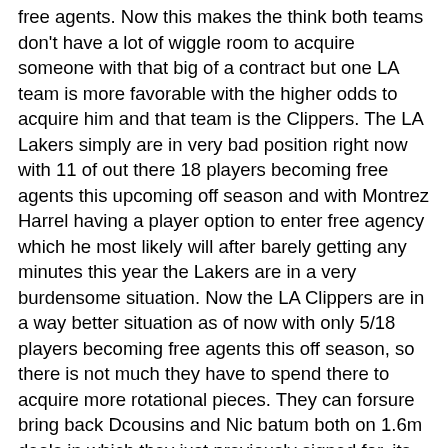free agents. Now this makes the think both teams don't have a lot of wiggle room to acquire someone with that big of a contract but one LA team is more favorable with the higher odds to acquire him and that team is the Clippers. The LA Lakers simply are in very bad position right now with 11 of out there 18 players becoming free agents this upcoming off season and with Montrez Harrel having a player option to enter free agency which he most likely will after barely getting any minutes this year the Lakers are in a very burdensome situation. Now the LA Clippers are in a way better situation as of now with only 5/18 players becoming free agents this off season, so there is not much they have to spend there to acquire more rotational pieces. They can forsure bring back Dcousins and Nic batum both on 1.6m deals in which they just previously signed for, its questionable with bringing back Reggie Jackson considering his astounding playoff Performances he might expect more money this off season and I'm almost certain there will be a team willing to give it to him. But also another thing into consideration is how emotional he was after the clippers lost so he might feel entitled to stay in LA but we won't